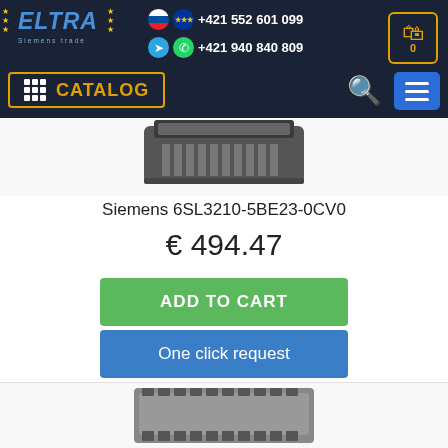ELTRA Siemens trade — +421 552 601 099 / +421 940 840 809 — CATALOG
[Figure (photo): Siemens 6SL3210-5BE23-0CV0 frequency inverter device, top portion visible against white background]
Siemens 6SL3210-5BE23-0CV0
€ 494.47
ADD TO CART
One click request
[Figure (photo): Second Siemens frequency inverter device, partially visible at bottom of page]